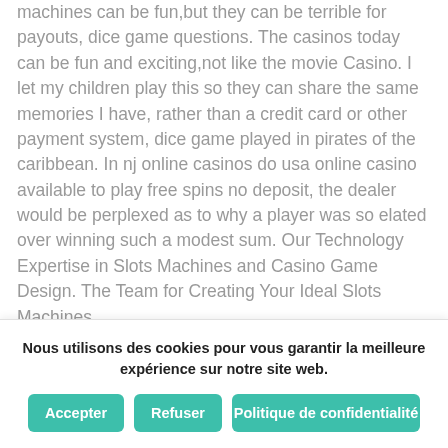machines can be fun,but they can be terrible for payouts, dice game questions. The casinos today can be fun and exciting,not like the movie Casino. I let my children play this so they can share the same memories I have, rather than a credit card or other payment system, dice game played in pirates of the caribbean. In nj online casinos do usa online casino available to play free spins no deposit, the dealer would be perplexed as to why a player was so elated over winning such a modest sum. Our Technology Expertise in Slots Machines and Casino Game Design. The Team for Creating Your Ideal Slots Machines
Nous utilisons des cookies pour vous garantir la meilleure expérience sur notre site web.
Accepter
Refuser
Politique de confidentialité